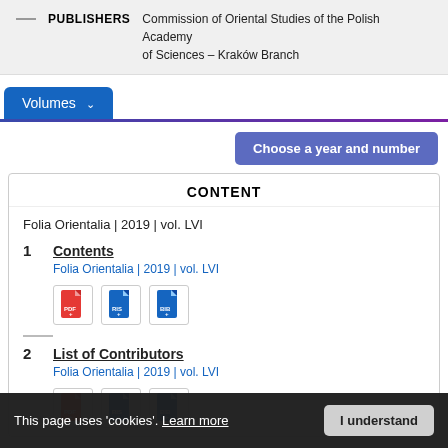PUBLISHERS — Commission of Oriental Studies of the Polish Academy of Sciences – Kraków Branch
Volumes
Choose a year and number
CONTENT
Folia Orientalia | 2019 | vol. LVI
1  Contents
Folia Orientalia | 2019 | vol. LVI
[Figure (other): PDF, RIS, BIB download icons for item 1]
2  List of Contributors
Folia Orientalia | 2019 | vol. LVI
[Figure (other): PDF, RIS, BIB download icons for item 2]
This page uses 'cookies'. Learn more
I understand